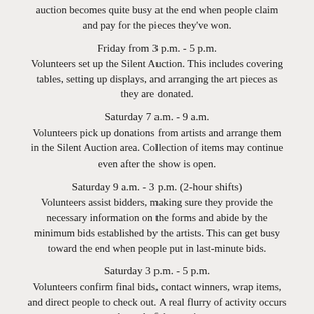auction becomes quite busy at the end when people claim and pay for the pieces they've won.
Friday from 3 p.m. - 5 p.m.
Volunteers set up the Silent Auction. This includes covering tables, setting up displays, and arranging the art pieces as they are donated.
Saturday 7 a.m. - 9 a.m.
Volunteers pick up donations from artists and arrange them in the Silent Auction area. Collection of items may continue even after the show is open.
Saturday 9 a.m. - 3 p.m. (2-hour shifts)
Volunteers assist bidders, making sure they provide the necessary information on the forms and abide by the minimum bids established by the artists. This can get busy toward the end when people put in last-minute bids.
Saturday 3 p.m. - 5 p.m.
Volunteers confirm final bids, contact winners, wrap items, and direct people to check out. A real flurry of activity occurs at the end of the auction.